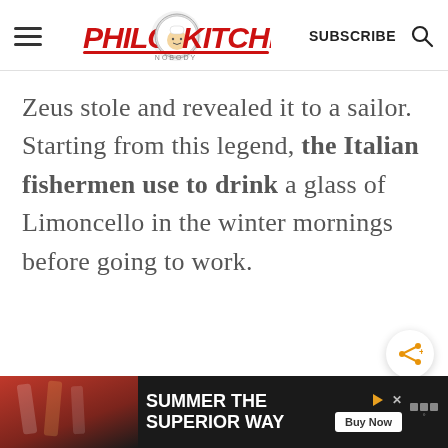Philos Kitchen — SUBSCRIBE (search icon)
Zeus stole and revealed it to a sailor. Starting from this legend, the Italian fishermen use to drink a glass of Limoncello in the winter mornings before going to work.
[Figure (screenshot): Share/social button (orange share icon on white circle)]
[Figure (infographic): What's Next widget showing thumbnail and text: HOMEMADE SUN-DRIED...]
[Figure (infographic): Ad bar at bottom: SUMMER THE SUPERIOR WAY with Buy Now button]